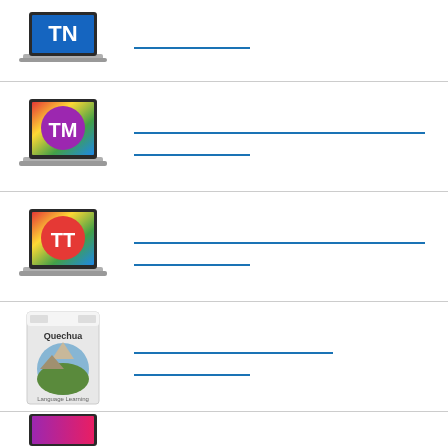[Figure (screenshot): Laptop with blue TN logo on screen]
[Figure (screenshot): Laptop with colorful TM logo on screen]
[Figure (screenshot): Laptop with colorful TT logo on screen]
[Figure (illustration): Quechua language learning software box with Machu Picchu image]
[Figure (screenshot): Partial view of another software product at bottom]